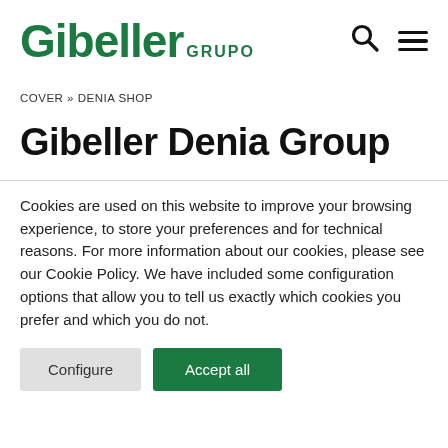[Figure (logo): Gibeller Grupo green logo with search and menu icons]
COVER » DENIA SHOP
Gibeller Denia Group
Cookies are used on this website to improve your browsing experience, to store your preferences and for technical reasons. For more information about our cookies, please see our Cookie Policy. We have included some configuration options that allow you to tell us exactly which cookies you prefer and which you do not.